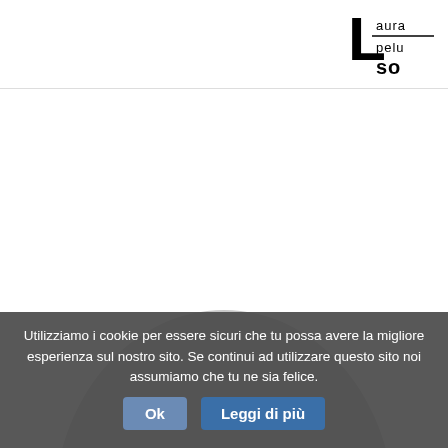[Figure (logo): Laura Pelusso logo in black text, styled with large 'L' and letters arranged in a stacked geometric layout with a horizontal line accent]
[Figure (photo): Partial silhouette of a person's head and shoulders shown as a grey circle/arc shape at the bottom of the page, mostly cropped]
Utilizziamo i cookie per essere sicuri che tu possa avere la migliore esperienza sul nostro sito. Se continui ad utilizzare questo sito noi assumiamo che tu ne sia felice.
Ok
Leggi di più